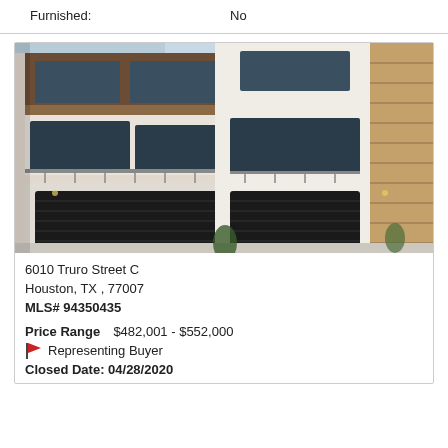Furnished:    No
[Figure (photo): Exterior photo of modern multi-story townhome at 6010 Truro Street C, Houston TX, showing white stucco facade, dark garage doors, metal railings on balconies, and wood panel accents on adjacent building.]
6010 Truro Street C
Houston, TX , 77007
MLS# 94350435
Price Range   $482,001 - $552,000
🚩 Representing Buyer
Closed Date: 04/28/2020